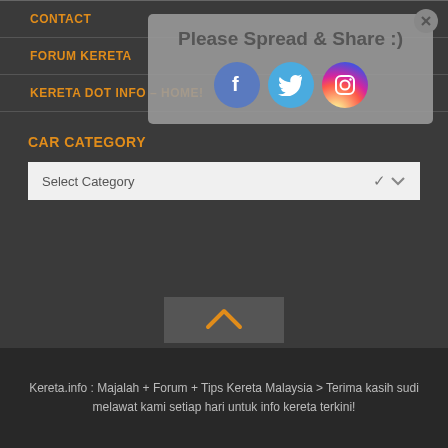CONTACT
[Figure (screenshot): Social sharing overlay with title 'Please Spread & Share :)' and Facebook, Twitter, Instagram icons, with close button]
FORUM KERETA
KERETA DOT INFO – HOME!
CAR CATEGORY
Select Category
[Figure (other): Upward chevron arrow in a dark box indicating scroll to top]
Kereta.info : Majalah + Forum + Tips Kereta Malaysia > Terima kasih sudi melawat kami setiap hari untuk info kereta terkini!